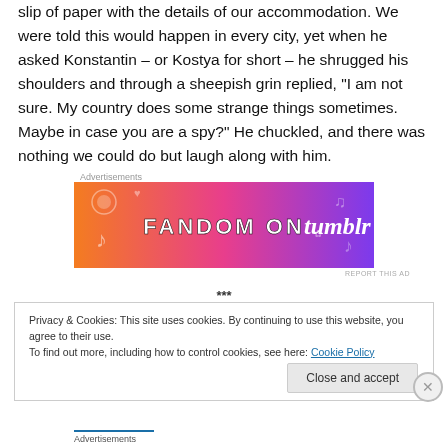slip of paper with the details of our accommodation. We were told this would happen in every city, yet when he asked Konstantin – or Kostya for short – he shrugged his shoulders and through a sheepish grin replied, "I am not sure. My country does some strange things sometimes. Maybe in case you are a spy?" He chuckled, and there was nothing we could do but laugh along with him.
[Figure (other): Fandom on Tumblr advertisement banner with colorful orange-to-purple gradient background and decorative music/emotion icons]
***
Privacy & Cookies: This site uses cookies. By continuing to use this website, you agree to their use.
To find out more, including how to control cookies, see here: Cookie Policy
Close and accept
Advertisements